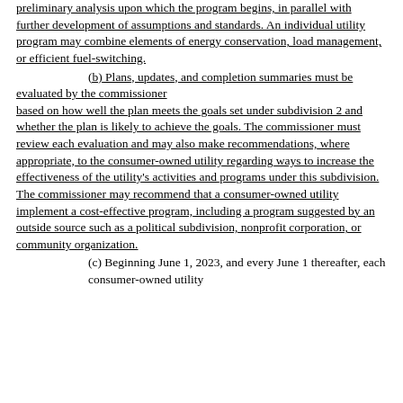preliminary analysis upon which the program begins, in parallel with further development of assumptions and standards. An individual utility program may combine elements of energy conservation, load management, or efficient fuel-switching.
(b) Plans, updates, and completion summaries must be evaluated by the commissioner based on how well the plan meets the goals set under subdivision 2 and whether the plan is likely to achieve the goals. The commissioner must review each evaluation and may also make recommendations, where appropriate, to the consumer-owned utility regarding ways to increase the effectiveness of the utility's activities and programs under this subdivision. The commissioner may recommend that a consumer-owned utility implement a cost-effective program, including a program suggested by an outside source such as a political subdivision, nonprofit corporation, or community organization.
(c) Beginning June 1, 2023, and every June 1 thereafter, each consumer-owned utility